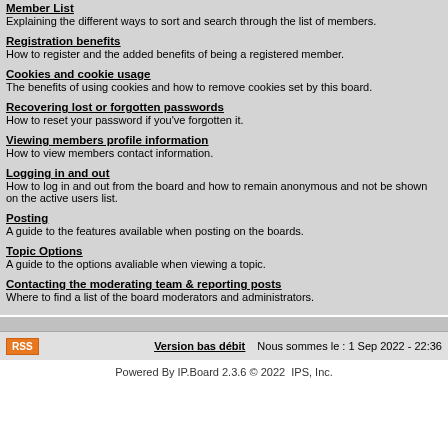Member List
Explaining the different ways to sort and search through the list of members.
Registration benefits
How to register and the added benefits of being a registered member.
Cookies and cookie usage
The benefits of using cookies and how to remove cookies set by this board.
Recovering lost or forgotten passwords
How to reset your password if you've forgotten it.
Viewing members profile information
How to view members contact information.
Logging in and out
How to log in and out from the board and how to remain anonymous and not be shown on the active users list.
Posting
A guide to the features available when posting on the boards.
Topic Options
A guide to the options avaliable when viewing a topic.
Contacting the moderating team & reporting posts
Where to find a list of the board moderators and administrators.
Version bas débit   Nous sommes le : 1 Sep 2022 - 22:36
Powered By IP.Board 2.3.6 © 2022  IPS, Inc.